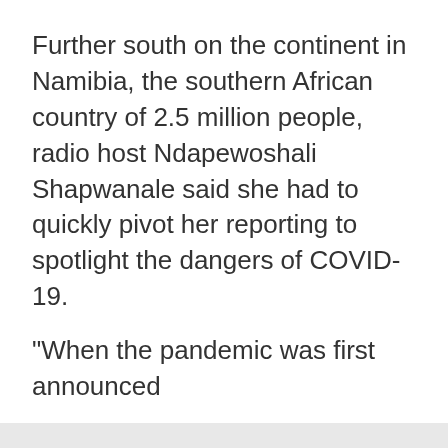Further south on the continent in Namibia, the southern African country of 2.5 million people, radio host Ndapewoshali Shapwanale said she had to quickly pivot her reporting to spotlight the dangers of COVID-19.
"When the pandemic was first announced
We use cookies
We use cookies and other tracking technologies to improve your browsing experience on our website, to show you personalized content and targeted ads, to analyze our website traffic, and to understand where our visitors are coming from.